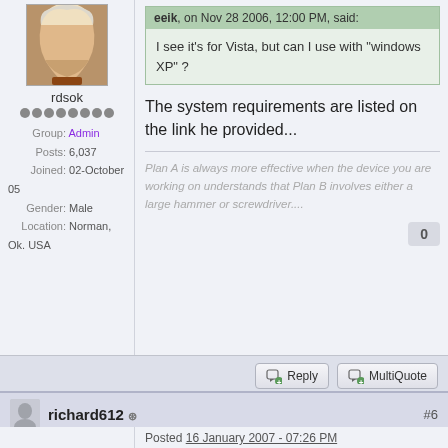[Figure (photo): Avatar image of user rdsok - illustrated fantasy character with white/blonde hair]
rdsok
Group: Admin
Posts: 6,037
Joined: 02-October 05
Gender: Male
Location: Norman, Ok. USA
eeik, on Nov 28 2006, 12:00 PM, said:
I see it's for Vista, but can I use with "windows XP" ?
The system requirements are listed on the link he provided...
Plan A is always more effective when the device you are working on understands that Plan B involves either a large hammer or screwdriver....
0
Reply   MultiQuote
richard612 #6
Posted 16 January 2007 - 07:26 PM
Guys, Is Bart actively
Newbie